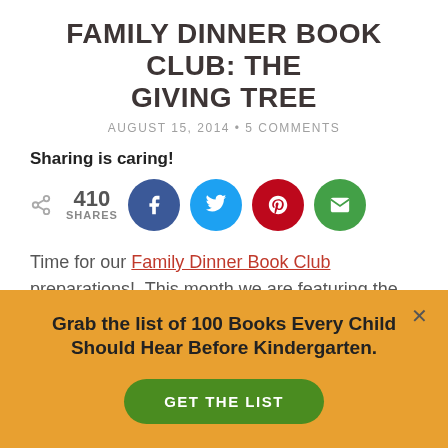FAMILY DINNER BOOK CLUB: THE GIVING TREE
AUGUST 15, 2014 • 5 COMMENTS
Sharing is caring!
[Figure (infographic): Social share bar with 410 shares count and four circular social media buttons: Facebook (blue), Twitter (light blue), Pinterest (red), Email (green)]
Time for our Family Dinner Book Club preparations! This month we are featuring the book, The Giving Tree by Shel Silverstein. We hope that you've been enjoying reading
Grab the list of 100 Books Every Child Should Hear Before Kindergarten.
GET THE LIST